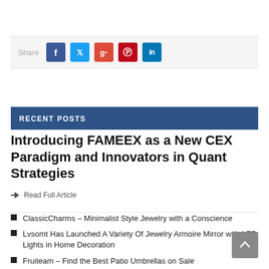[Figure (infographic): Social share bar with Facebook, Twitter, Google+, Pinterest, and LinkedIn buttons]
RECENT POSTS
Introducing FAMEEX as a New CEX Paradigm and Innovators in Quant Strategies
Read Full Article
ClassicCharms – Minimalist Style Jewelry with a Conscience
Lvsomt Has Launched A Variety Of Jewelry Armoire Mirror with LED Lights in Home Decoration
Fruiteam – Find the Best Patio Umbrellas on Sale